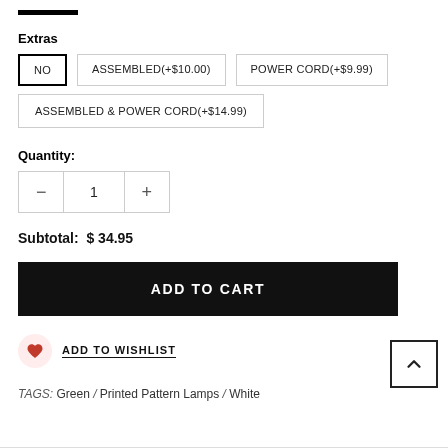Extras
NO
ASSEMBLED(+$10.00)
POWER CORD(+$9.99)
ASSEMBLED & POWER CORD(+$14.99)
Quantity:
Subtotal: $ 34.95
ADD TO CART
ADD TO WISHLIST
TAGS: Green / Printed Pattern Lamps / White